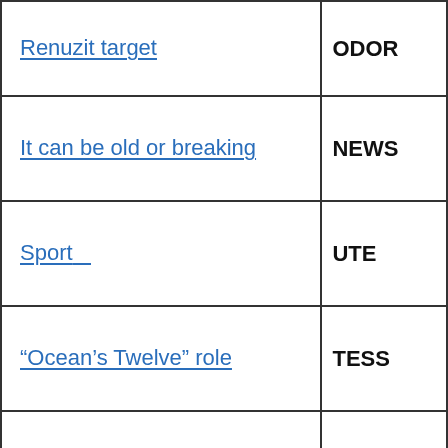| Clue | Answer |
| --- | --- |
| Renuzit target | ODOR |
| It can be old or breaking | NEWS |
| Sport___ | UTE |
| “Ocean’s Twelve” role | TESS |
| ___Terr., 1861-89 | DAK |
| Maze explorer | LAB RAT |
| Go downhill in a hurry | SCHUS |